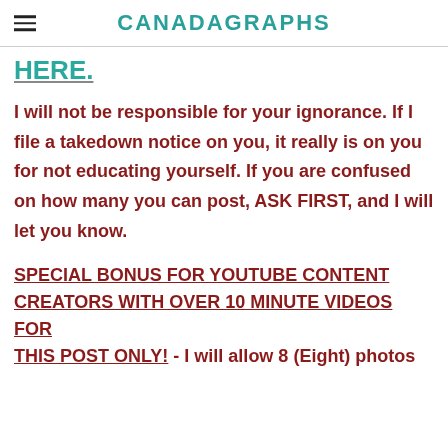CANADAGRAPHS
HERE.
I will not be responsible for your ignorance. If I file a takedown notice on you, it really is on you for not educating yourself. If you are confused on how many you can post, ASK FIRST, and I will let you know.
SPECIAL BONUS FOR YOUTUBE CONTENT CREATORS WITH OVER 10 MINUTE VIDEOS FOR THIS POST ONLY!  - I will allow 8 (Eight) photos